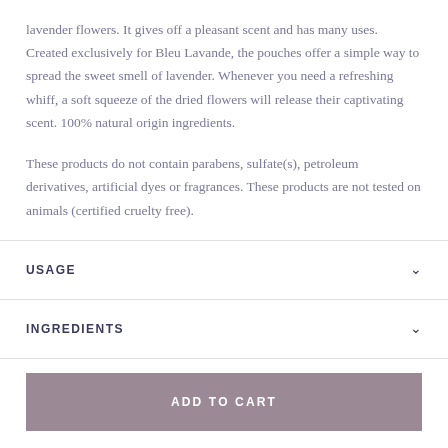lavender flowers. It gives off a pleasant scent and has many uses. Created exclusively for Bleu Lavande, the pouches offer a simple way to spread the sweet smell of lavender. Whenever you need a refreshing whiff, a soft squeeze of the dried flowers will release their captivating scent. 100% natural origin ingredients.

These products do not contain parabens, sulfate(s), petroleum derivatives, artificial dyes or fragrances. These products are not tested on animals (certified cruelty free).
USAGE
INGREDIENTS
ADD TO CART